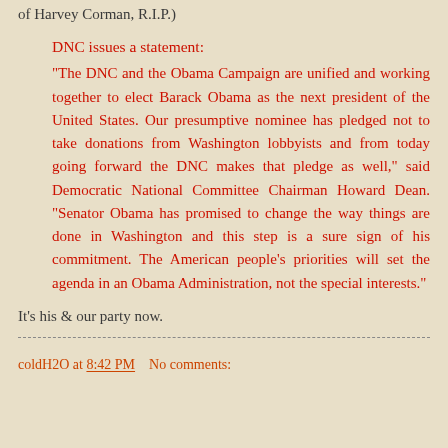of Harvey Corman, R.I.P.)
DNC issues a statement:
"The DNC and the Obama Campaign are unified and working together to elect Barack Obama as the next president of the United States. Our presumptive nominee has pledged not to take donations from Washington lobbyists and from today going forward the DNC makes that pledge as well," said Democratic National Committee Chairman Howard Dean. "Senator Obama has promised to change the way things are done in Washington and this step is a sure sign of his commitment. The American people's priorities will set the agenda in an Obama Administration, not the special interests."
It's his & our party now.
coldH2O at 8:42 PM    No comments: